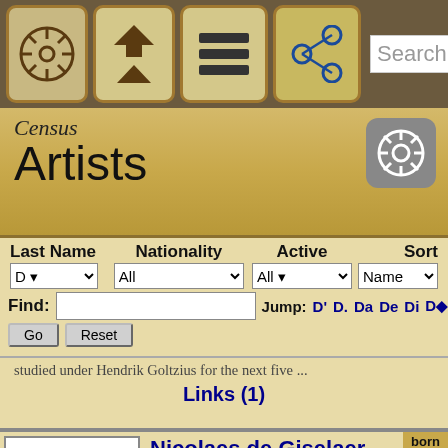[Figure (screenshot): Navigation bar with icons: ship's wheel, home/up arrow, hamburger menu, share button, and a Search text field]
Census
Artists
| Last Name | Nationality | Active | Sort |
| --- | --- | --- | --- |
| D ▾ | All | All ▾ | Name |
Find: [input] Jump: D' D. Da De Di D◆  Go  Reset
studied under Hendrik Goltzius for the next five ...
Links (1)
Nicolaes de Giselaer
aka: Geijselers, Geyselers, Gijselaer, Gijzelaer, Gyselaer, Gyzelaer, Ghyselaer
a Dutch painter and draughtsman. De Giselaer was born i... much is known about his life, except through his works. E... known he was born in Dordrecht, and worked in Leiden a... and later Amsterdam between 1616-1617. He eventually n... Utrecht, where he continued working until his death rou...